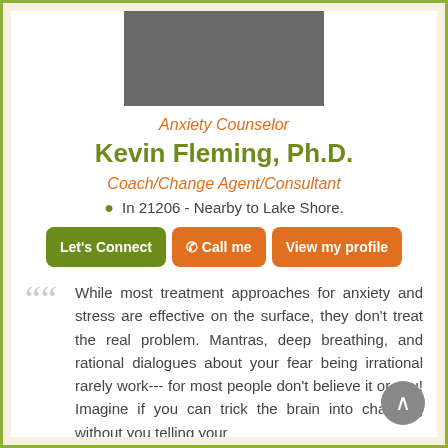[Figure (photo): Headshot photo of Kevin Fleming, Ph.D.]
Anxiety Counselor
Kevin Fleming, Ph.D.
Coach/Change Agent/Consultant
In 21206 - Nearby to Lake Shore.
Let's Connect | Call me | View my profile
While most treatment approaches for anxiety and stress are effective on the surface, they don't treat the real problem. Mantras, deep breathing, and rational dialogues about your fear being irrational rarely work--- for most people don't believe it or you! Imagine if you can trick the brain into changing without you telling your